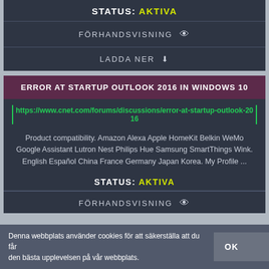STATUS: AKTIVA
FÖRHANDSVISNING 👁
LADDA NER ⬇
ERROR AT STARTUP OUTLOOK 2016 IN WINDOWS 10
https://www.cnet.com/forums/discussions/error-at-startup-outlook-2016
Product compatibility. Amazon Alexa Apple HomeKit Belkin WeMo Google Assistant Lutron Nest Philips Hue Samsung SmartThings Wink. English Español China France Germany Japan Korea. My Profile ...
STATUS: AKTIVA
FÖRHANDSVISNING 👁
Denna webbplats använder cookies för att säkerställa att du får den bästa upplevelsen på vår webbplats.